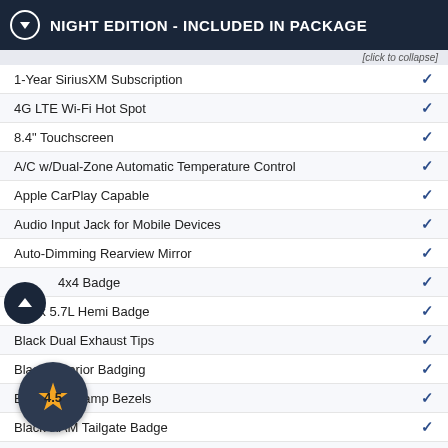NIGHT EDITION - INCLUDED IN PACKAGE
[click to collapse]
1-Year SiriusXM Subscription
4G LTE Wi-Fi Hot Spot
8.4" Touchscreen
A/C w/Dual-Zone Automatic Temperature Control
Apple CarPlay Capable
Audio Input Jack for Mobile Devices
Auto-Dimming Rearview Mirror
4x4 Badge
Black 5.7L Hemi Badge
Black Dual Exhaust Tips
Black Exterior Badging
Black Headlamp Bezels
Black RAM Tailgate Badge
For Details Visit DriveUconnect.ca
For XM Info Call 888-539-7474
Gloss Black Grille
Google Android Auto